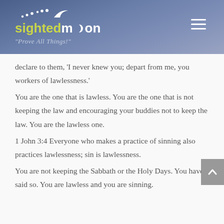sightedmoon — "Prove All Things!"
declare to them, 'I never knew you; depart from me, you workers of lawlessness.'
You are the one that is lawless. You are the one that is not keeping the law and encouraging your buddies not to keep the law. You are the lawless one.
1 John 3:4 Everyone who makes a practice of sinning also practices lawlessness; sin is lawlessness.
You are not keeping the Sabbath or the Holy Days. You have said so. You are lawless and you are sinning.